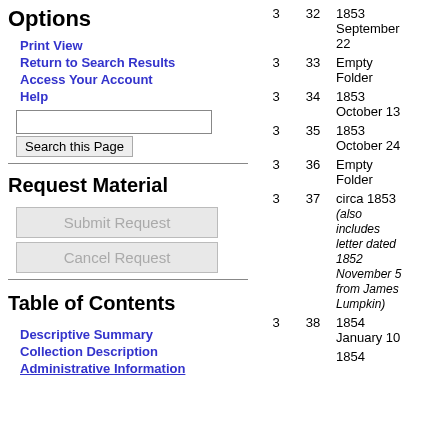Options
Print View
Return to Search Results
Access Your Account
Help
Request Material
Table of Contents
Descriptive Summary
Collection Description
Administrative Information
| Box | Folder | Date |
| --- | --- | --- |
| 3 | 32 | 1853 September 22 |
| 3 | 33 | Empty Folder |
| 3 | 34 | 1853 October 13 |
| 3 | 35 | 1853 October 24 |
| 3 | 36 | Empty Folder |
| 3 | 37 | circa 1853 (also includes letter dated 1852 November 5 from James Lumpkin) |
| 3 | 38 | 1854 January 10 |
| 3 |  | 1854 |